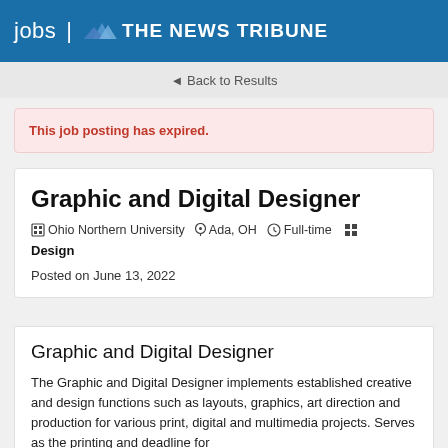jobs | THE NEWS TRIBUNE
◄ Back to Results
This job posting has expired.
Graphic and Digital Designer
Ohio Northern University   Ada, OH   Full-time   Design
Posted on June 13, 2022
Graphic and Digital Designer
The Graphic and Digital Designer implements established creative and design functions such as layouts, graphics, art direction and production for various print, digital and multimedia projects. Serves as the printing and deadline for